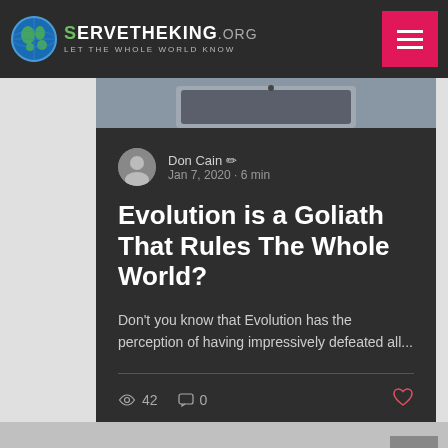[Figure (logo): ServeTheKing.org logo with globe icon and tagline LET THE WHOLE WORLD KNOW on dark navigation bar with pink/magenta hamburger menu button]
[Figure (photo): Partial photo strip showing a laptop/tablet device, blurred, in the background behind the card]
Don Cain  Jan 7, 2020 · 6 min
Evolution is a Goliath That Rules The Whole World?
Don't you know that Evolution has the perception of having impressively defeated all...
42  0